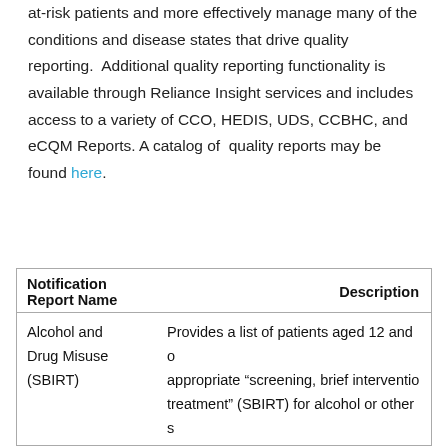at-risk patients and more effectively manage many of the conditions and disease states that drive quality reporting.  Additional quality reporting functionality is available through Reliance Insight services and includes access to a variety of CCO, HEDIS, UDS, CCBHC, and eCQM Reports. A catalog of  quality reports may be found here.
| Notification Report Name | Description |
| --- | --- |
| Alcohol and Drug Misuse (SBIRT) | Provides a list of patients aged 12 and o... appropriate "screening, brief interventio... treatment" (SBIRT) for alcohol or other s... |